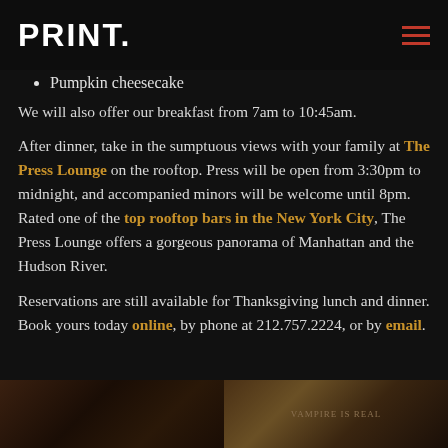PRINT.
Pumpkin cheesecake
We will also offer our breakfast from 7am to 10:45am.
After dinner, take in the sumptuous views with your family at The Press Lounge on the rooftop. Press will be open from 3:30pm to midnight, and accompanied minors will be welcome until 8pm. Rated one of the top rooftop bars in the New York City, The Press Lounge offers a gorgeous panorama of Manhattan and the Hudson River.
Reservations are still available for Thanksgiving lunch and dinner. Book yours today online, by phone at 212.757.2224, or by email.
[Figure (photo): Two photos at the bottom of the page, dark atmospheric restaurant/bar images]